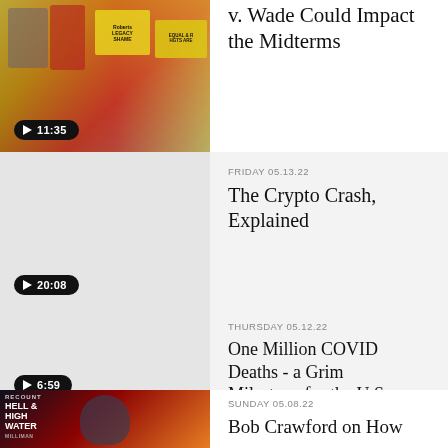[Figure (photo): Protest scene with people holding yellow signs, play button badge showing 11:35]
v. Wade Could Impact the Midterms
[Figure (photo): Gray thumbnail with play badge showing 20:08]
FRIDAY 05.13.22
The Crypto Crash, Explained
[Figure (photo): Gray thumbnail with play badge showing 6:59]
THURSDAY 05.12.22
One Million COVID Deaths - a Grim Milestone for the U.S.
[Figure (photo): Hell and High Water show thumbnail with dramatic imagery]
SUNDAY 05.08.22
Bob Crawford on How